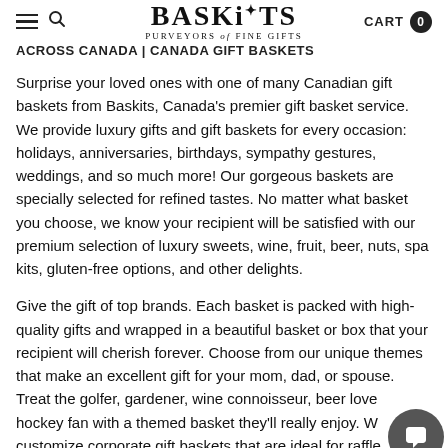BASKiTS — PURVEYORS of FINE GIFTS | CART 0
ACROSS CANADA | CANADA GIFT BASKETS
Surprise your loved ones with one of many Canadian gift baskets from Baskits, Canada's premier gift basket service. We provide luxury gifts and gift baskets for every occasion: holidays, anniversaries, birthdays, sympathy gestures, weddings, and so much more! Our gorgeous baskets are specially selected for refined tastes. No matter what basket you choose, we know your recipient will be satisfied with our premium selection of luxury sweets, wine, fruit, beer, nuts, spa kits, gluten-free options, and other delights.
Give the gift of top brands. Each basket is packed with high-quality gifts and wrapped in a beautiful basket or box that your recipient will cherish forever. Choose from our unique themes that make an excellent gift for your mom, dad, or spouse. Treat the golfer, gardener, wine connoisseur, beer lover, hockey fan with a themed basket they'll really enjoy. We customize corporate gift baskets that are ideal for raffle